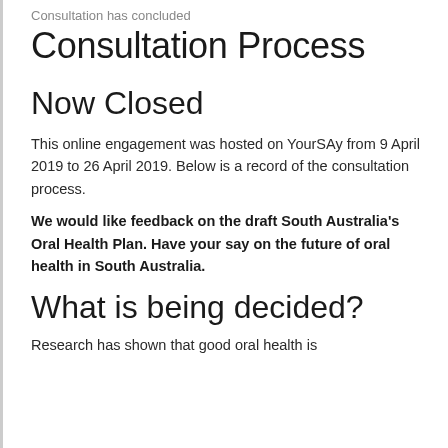Consultation has concluded
Consultation Process
Now Closed
This online engagement was hosted on YourSAy from 9 April 2019 to 26 April 2019. Below is a record of the consultation process.
We would like feedback on the draft South Australia's Oral Health Plan. Have your say on the future of oral health in South Australia.
What is being decided?
Research has shown that good oral health is